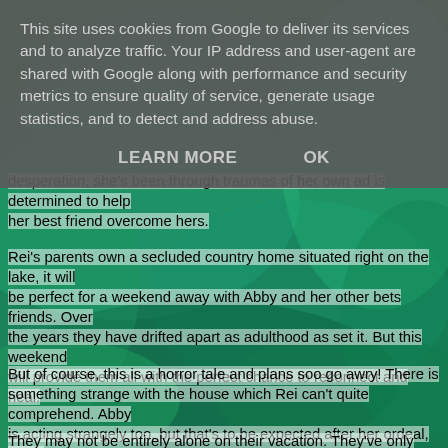[Figure (photo): Green swirling abstract background resembling liquid or fog]
desperation, she's been through traumas of her own ad is determined to help her best friend overcome hers.
Rei's parents own a secluded country home situated right on the lake, it will be perfect for a weekend away with Abby and her other bets friends. Over the years they have drifted apart as adulthood as set it. But this weekend will provide them all with the perfect chance to reconnect and heal.
But of course, this is a horror tale and plans soo go awry! There is something strange with the house which Rei can't quite comprehend. Abby is acting strangely too, but that's to be expected after her ordeal, or it it being caused by something else?
They may not be entirely alone on their vacation. They've only gone for the
This site uses cookies from Google to deliver its services and to analyze traffic. Your IP address and user-agent are shared with Google along with performance and security metrics to ensure quality of service, generate usage statistics, and to detect and address abuse.
LEARN MORE   OK